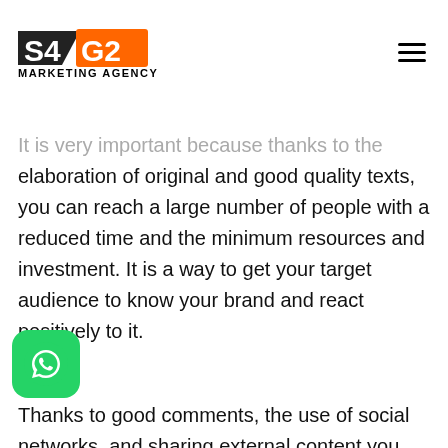S4G2 MARKETING AGENCY
Why SEO Important?
It is very important because thanks to the elaboration of original and good quality texts, you can reach a large number of people with a reduced time and the minimum resources and investment. It is a way to get your target audience to know your brand and react positively to it.
Thanks to good comments, the use of social networks, and sharing external content you can get a good website with excellent positioning. The use of social networks for the distribution of your content is decisive, as well
[Figure (logo): WhatsApp icon - green rounded square with white phone handset]